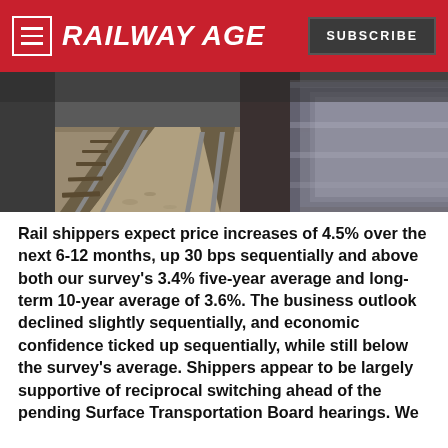RAILWAY AGE | SUBSCRIBE
[Figure (photo): Railroad tracks stretching into the distance with a blurred train passing on the right side, gravel ballast and wooden ties visible]
Rail shippers expect price increases of 4.5% over the next 6-12 months, up 30 bps sequentially and above both our survey's 3.4% five-year average and long-term 10-year average of 3.6%. The business outlook declined slightly sequentially, and economic confidence ticked up sequentially, while still below the survey's average. Shippers appear to be largely supportive of reciprocal switching ahead of the pending Surface Transportation Board hearings. We